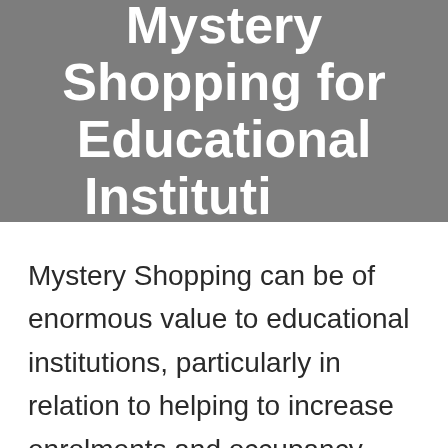Mystery Shopping for Educational Institutions
Mystery Shopping can be of enormous value to educational institutions, particularly in relation to helping to increase enrolments and occupancy levels.